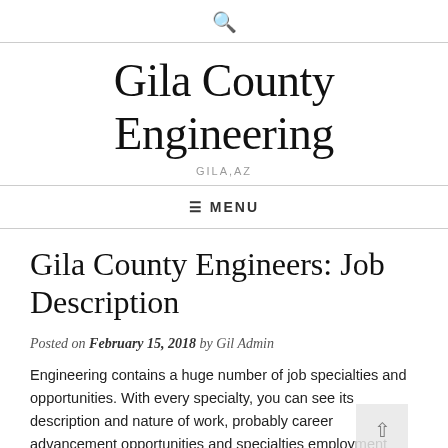🔍
Gila County Engineering
GILA,AZ
☰ MENU
Gila County Engineers: Job Description
Posted on February 15, 2018 by Gil Admin
Engineering contains a huge number of job specialties and opportunities. With every specialty, you can see its description and nature of work, probably career advancement opportunities and specialties employment